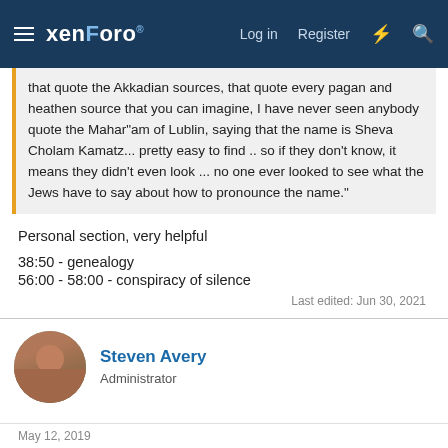xenForo — Log in  Register
that quote the Akkadian sources, that quote every pagan and heathen source that you can imagine, I have never seen anybody quote the Mahar"am of Lublin, saying that the name is Sheva Cholam Kamatz... pretty easy to find .. so if they don't know, it means they didn't even look ... no one ever looked to see what the Jews have to say about how to pronounce the name."
Personal section, very helpful
38:50 - genealogy
56:00 - 58:00 - conspiracy of silence
Last edited: Jun 30, 2021
Steven Avery
Administrator